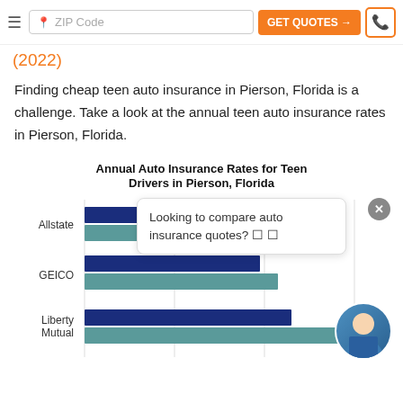ZIP Code | GET QUOTES → | phone button
(2022)
Finding cheap teen auto insurance in Pierson, Florida is a challenge. Take a look at the annual teen auto insurance rates in Pierson, Florida.
[Figure (grouped-bar-chart): Grouped horizontal bar chart showing annual auto insurance rates for teen drivers. Allstate, GEICO, and Liberty Mutual shown with dark blue (male) and teal (female) bars.]